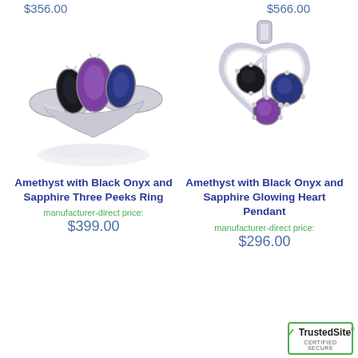$356.00
$566.00
[Figure (photo): Silver ring with three marquise-cut stones: black onyx, purple amethyst, and blue sapphire, with reflection below]
[Figure (photo): Silver heart-shaped pendant with three round stones: black onyx, purple amethyst, and blue sapphire, with a bail at top]
Amethyst with Black Onyx and Sapphire Three Peeks Ring
Amethyst with Black Onyx and Sapphire Glowing Heart Pendant
manufacturer-direct price:
$399.00
manufacturer-direct price:
$296.00
[Figure (logo): TrustedSite Certified Secure badge with green checkmark]